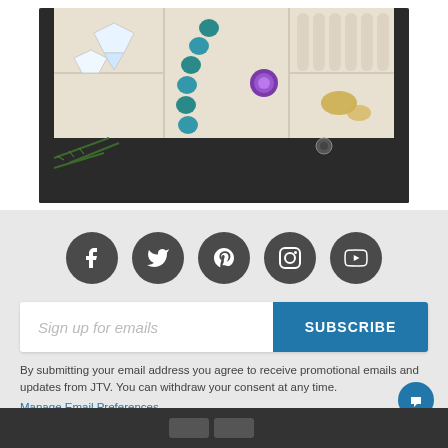[Figure (photo): A jewelry box tray with compartments containing a teal/blue flower bracelet, diamond rings, a purple amethyst ring, gold rings, and other jewelry pieces. Green pine sprigs visible in the lower left corner.]
[Figure (infographic): Social media icon buttons: Facebook, Twitter, Pinterest, Instagram, YouTube — all dark gray circles with white icons]
Sign up for emails
SUBSCRIBE
By submitting your email address you agree to receive promotional emails and updates from JTV. You can withdraw your consent at any time.
Manage Email Preferences